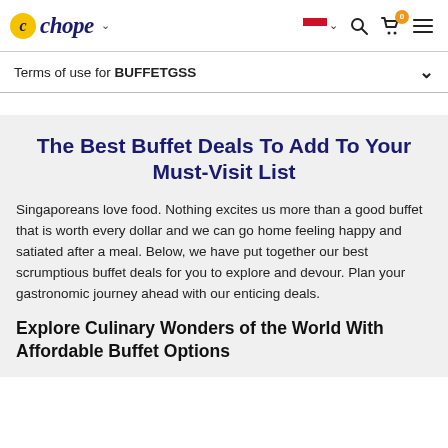chope (logo with navigation icons including flag, search, cart with 0, and menu)
Terms of use for BUFFETGSS
The Best Buffet Deals To Add To Your Must-Visit List
Singaporeans love food. Nothing excites us more than a good buffet that is worth every dollar and we can go home feeling happy and satiated after a meal. Below, we have put together our best scrumptious buffet deals for you to explore and devour. Plan your gastronomic journey ahead with our enticing deals.
Explore Culinary Wonders of the World With Affordable Buffet Options